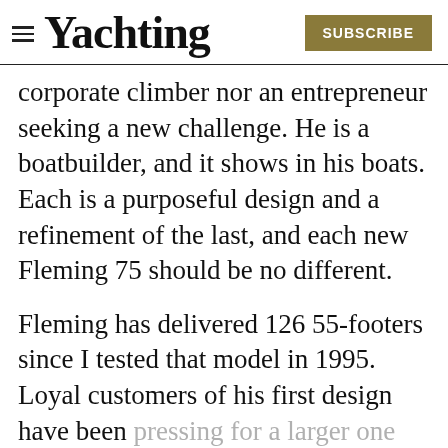Yachting | SUBSCRIBE
corporate climber nor an entrepreneur seeking a new challenge. He is a boatbuilder, and it shows in his boats. Each is a purposeful design and a refinement of the last, and each new Fleming 75 should be no different.
Fleming has delivered 126 55-footers since I tested that model in 1995. Loyal customers of his first design have been pressing for a larger one that will allow ther water.
[Figure (screenshot): Advertisement overlay at bottom of page showing a yacht/boat image with text 'Your ticket to voyage' and a close button]